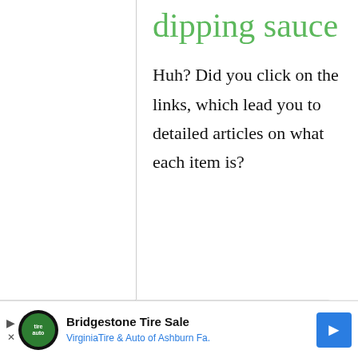dipping sauce
Huh? Did you click on the links, which lead you to detailed articles on what each item is?
gastrogeek
14 April, 2009 - 14:59
Re: Basics: Cold soba
[Figure (other): Advertisement banner: Bridgestone Tire Sale - Virginia Tire & Auto of Ashburn Fa. with logo and navigation arrow icon]